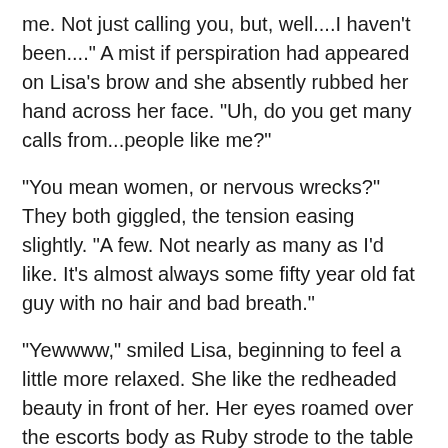me. Not just calling you, but, well....I haven't been...." A mist if perspiration had appeared on Lisa's brow and she absently rubbed her hand across her face. "Uh, do you get many calls from...people like me?"
"You mean women, or nervous wrecks?" They both giggled, the tension easing slightly. "A few. Not nearly as many as I'd like. It's almost always some fifty year old fat guy with no hair and bad breath."
"Yewwww," smiled Lisa, beginning to feel a little more relaxed. She like the redheaded beauty in front of her. Her eyes roamed over the escorts body as Ruby strode to the table and set her shoulder bag down on it. Lisa estimated her to be about five feet, six or seven inches tall. Certainly not a pound over 120, with wavy, red hair cascading to just below her waist. Lisa thought she had the body of a ballerina, except for the rather large boobs.
She could display her eyes to that Ruby, and she could